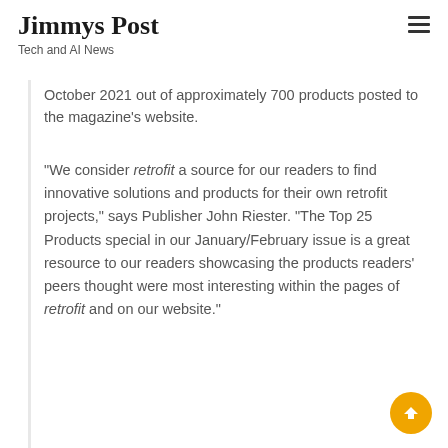Jimmys Post
Tech and AI News
October 2021 out of approximately 700 products posted to the magazine's website.
“We consider retrofit a source for our readers to find innovative solutions and products for their own retrofit projects,” says Publisher John Riester. “The Top 25 Products special in our January/February issue is a great resource to our readers showcasing the products readers’ peers thought were most interesting within the pages of retrofit and on our website.”
‘We’re thrilled to receive recognition for the 80G2E